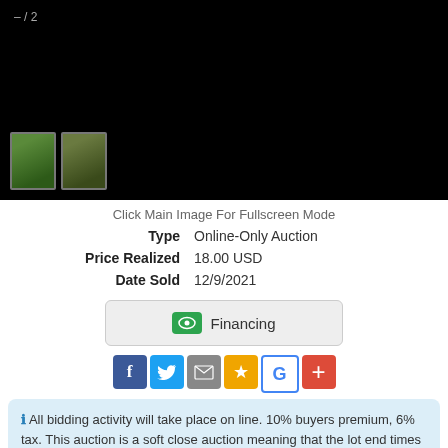[Figure (photo): Black image banner with slide counter showing –/2 and two small green-tinted thumbnails at the bottom left]
Click Main Image For Fullscreen Mode
Type   Online-Only Auction
Price Realized   18.00 USD
Date Sold   12/9/2021
[Figure (other): Financing button with green dollar icon]
[Figure (other): Social sharing icons: Facebook, Twitter, Email, Stars, Google+, Plus]
All bidding activity will take place on line. 10% buyers premium, 6% tax. This auction is a soft close auction meaning that the lot end times are staggered, and if bidding activity takes place in the last few minutes, the bidding is extended for that lot, much like at a live auction. When the auction begins to end, click the blinking orange button to follow along in the "Live